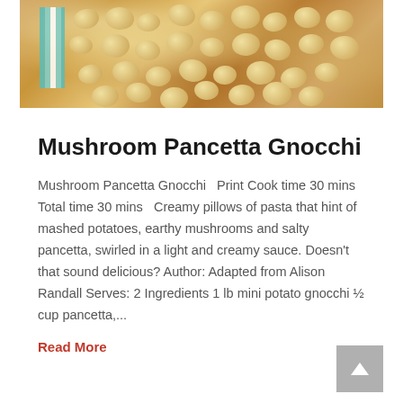[Figure (photo): Top-down photo of a pan of mushroom pancetta gnocchi with golden-brown gnocchi pieces, with a teal and white striped cloth visible at the left edge.]
Mushroom Pancetta Gnocchi
Mushroom Pancetta Gnocchi   Print Cook time 30 mins Total time 30 mins   Creamy pillows of pasta that hint of mashed potatoes, earthy mushrooms and salty pancetta, swirled in a light and creamy sauce. Doesn't that sound delicious? Author: Adapted from Alison Randall Serves: 2 Ingredients 1 lb mini potato gnocchi ½ cup pancetta,...
Read More